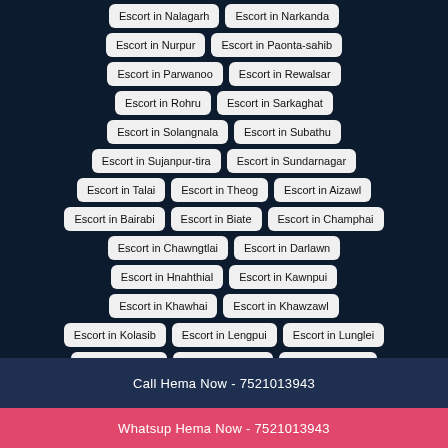Escort in Nalagarh
Escort in Narkanda
Escort in Nurpur
Escort in Paonta-sahib
Escort in Parwanoo
Escort in Rewalsar
Escort in Rohru
Escort in Sarkaghat
Escort in Solangnala
Escort in Subathu
Escort in Sujanpur-tira
Escort in Sundarnagar
Escort in Talai
Escort in Theog
Escort in Aizawl
Escort in Bairabi
Escort in Biate
Escort in Champhai
Escort in Chawngtlai
Escort in Darlawn
Escort in Hnahthial
Escort in Kawnpui
Escort in Khawhai
Escort in Khawzawl
Escort in Kolasib
Escort in Lengpui
Escort in Lunglei
Escort in Mamit
Escort in Murlen
Escort in Naona
Call Hema Now - 7521013943
Whatsup Hema Now - 7521013943